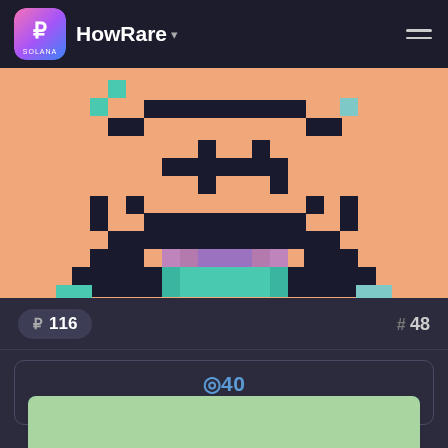HowRare
[Figure (screenshot): Pixel art NFT character with peach/orange background, showing a pixelated face with dark features, purple and teal clothing at the bottom]
R 116
# 48
◎40 BUY ON MAGIC EDEN
LAST ◎11.50
[Figure (other): Bottom of next card visible, light green background]